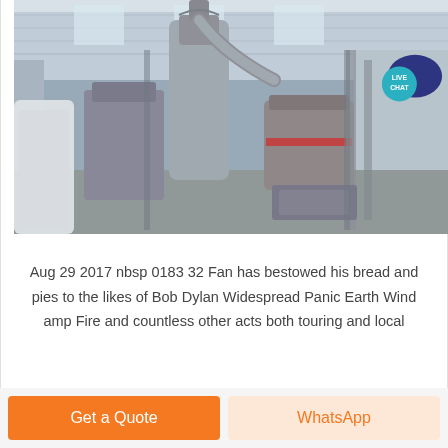[Figure (photo): Industrial milling/grinding equipment inside a warehouse with metal silos, cyclone separator, and processing machinery on a concrete floor with large white bags of material]
Aug 29 2017 nbsp 0183 32 Fan has bestowed his bread and pies to the likes of Bob Dylan Widespread Panic Earth Wind amp Fire and countless other acts both touring and local
Get a Quote
WhatsApp